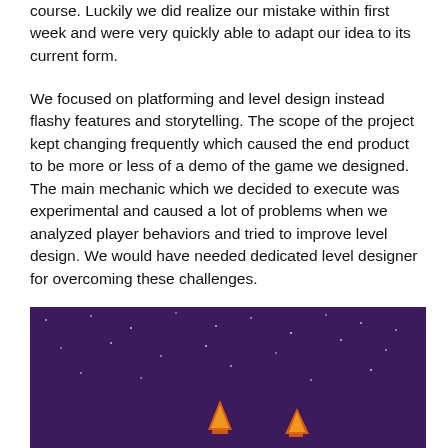course. Luckily we did realize our mistake within first week and were very quickly able to adapt our idea to its current form.
We focused on platforming and level design instead flashy features and storytelling. The scope of the project kept changing frequently which caused the end product to be more or less of a demo of the game we designed. The main mechanic which we decided to execute was experimental and caused a lot of problems when we analyzed player behaviors and tried to improve level design. We would have needed dedicated level designer for overcoming these challenges.
[Figure (screenshot): A dark purple game screenshot showing small pixel-art character figures at the bottom of the scene with white dots suggesting stars in the background.]